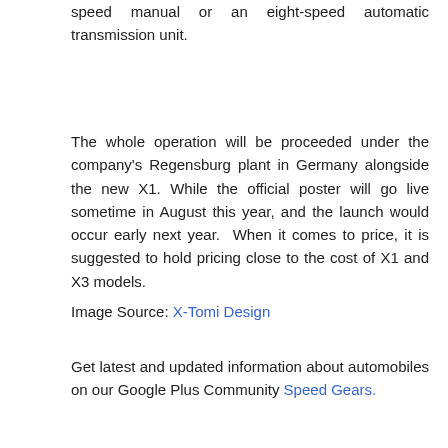speed manual or an eight-speed automatic transmission unit.
The whole operation will be proceeded under the company's Regensburg plant in Germany alongside the new X1. While the official poster will go live sometime in August this year, and the launch would occur early next year.  When it comes to price, it is suggested to hold pricing close to the cost of X1 and X3 models.
Image Source: X-Tomi Design
Get latest and updated information about automobiles on our Google Plus Community Speed Gears.